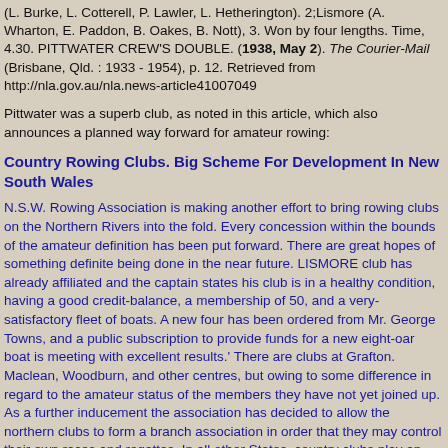(L. Burke, L. Cotterell, P. Lawler, L. Hetherington). 2;Lismore (A. Wharton, E. Paddon, B. Oakes, B. Nott), 3. Won by four lengths. Time, 4.30. PITTWATER CREW'S DOUBLE. (1938, May 2). The Courier-Mail (Brisbane, Qld. : 1933 - 1954), p. 12. Retrieved from http://nla.gov.au/nla.news-article41007049
Pittwater was a superb club, as noted in this article, which also announces a planned way forward for amateur rowing:
Country Rowing Clubs. Big Scheme For Development In New South Wales
N.S.W. Rowing Association is making another effort to bring rowing clubs on the Northern Rivers into the fold. Every concession within the bounds of the amateur definition has been put forward. There are great hopes of something definite being done in the near future. LISMORE club has already affiliated and the captain states his club is in a healthy condition, having a good credit-balance, a membership of 50, and a very- satisfactory fleet of boats. A new four has been ordered from Mr. George Towns, and a public subscription to provide funds for a new eight-oar boat is meeting with excellent results.' There are clubs at Grafton. Maclean, Woodburn, and other centres, but owing to some difference in regard to the amateur status of the members they have not yet joined up. As a further inducement the association has decided to allow the northern clubs to form a branch association in order that they may control their own races and regattas. In all other States, country clubs play an important part and are a big asset to the